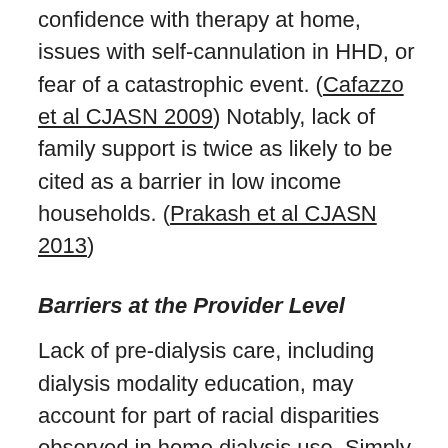confidence with therapy at home, issues with self-cannulation in HHD, or fear of a catastrophic event. (Cafazzo et al CJASN 2009) Notably, lack of family support is twice as likely to be cited as a barrier in low income households. (Prakash et al CJASN 2013)
Barriers at the Provider Level
Lack of pre-dialysis care, including dialysis modality education, may account for part of racial disparities observed in home dialysis use. Simply, patients are more likely to choose PD when they receive adequate education about it (Devoe et al AJKD 2016). Shen et al noted a higher number of Black (36%) and Latinx (38%) patients had not seen a nephrologist prior to dialysis initiation compared with White patients with kidney failure. More Black...